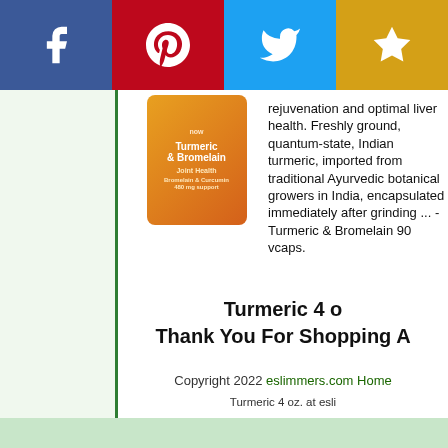[Figure (infographic): Social sharing bar with Facebook (blue), Pinterest (red), Twitter (light blue), and Star/bookmark (gold/yellow) buttons]
[Figure (photo): NOW brand Turmeric & Bromelain supplement bottle, orange label]
rejuvenation and optimal liver health. Freshly ground, quantum-state, Indian turmeric, imported from traditional Ayurvedic botanical growers in India, encapsulated immediately after grinding ... - Turmeric & Bromelain 90 vcaps.
Turmeric 4 o
Thank You For Shopping A
Copyright 2022 eslimmers.com Home
Turmeric 4 oz. at esli